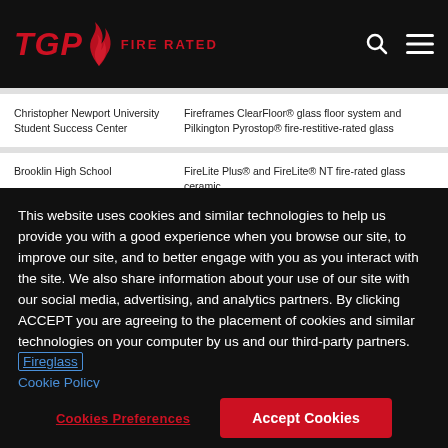TGP FIRE RATED
Christopher Newport University Student Success Center
Fireframes ClearFloor® glass floor system and Pilkington Pyrostop® fire-restitive-rated glass
Brooklin High School
FireLite Plus® and FireLite® NT fire-rated glass ceramic
This website uses cookies and similar technologies to help us provide you with a good experience when you browse our site, to improve our site, and to better engage with you as you interact with the site. We also share information about your use of our site with our social media, advertising, and analytics partners. By clicking ACCEPT you are agreeing to the placement of cookies and similar technologies on your computer by us and our third-party partners. Fireglass Cookie Policy
Cookies Preferences
Accept Cookies